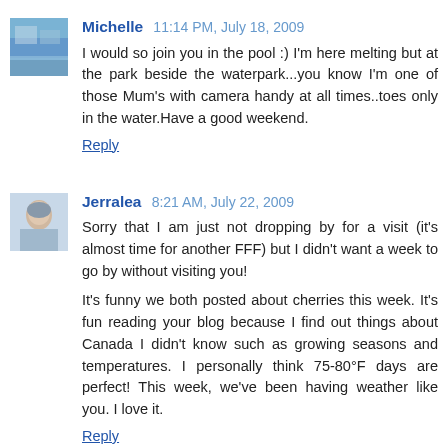Michelle  11:14 PM, July 18, 2009
I would so join you in the pool :) I'm here melting but at the park beside the waterpark...you know I'm one of those Mum's with camera handy at all times..toes only in the water.Have a good weekend.
Reply
Jerralea  8:21 AM, July 22, 2009
Sorry that I am just not dropping by for a visit (it's almost time for another FFF) but I didn't want a week to go by without visiting you!

It's funny we both posted about cherries this week. It's fun reading your blog because I find out things about Canada I didn't know such as growing seasons and temperatures. I personally think 75-80°F days are perfect! This week, we've been having weather like you. I love it.
Reply